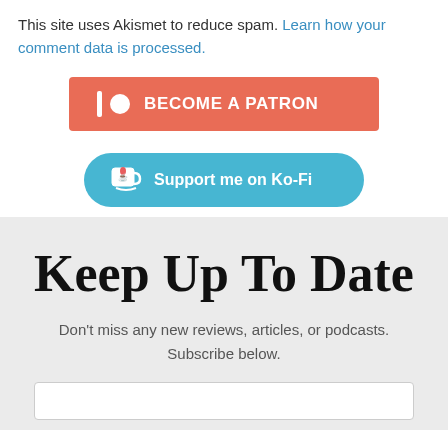This site uses Akismet to reduce spam. Learn how your comment data is processed.
[Figure (other): Patreon button: orange/coral rectangle with Patreon icon and text BECOME A PATRON]
[Figure (other): Ko-Fi button: blue rounded rectangle with coffee cup icon and text Support me on Ko-Fi]
Keep Up To Date
Don't miss any new reviews, articles, or podcasts. Subscribe below.